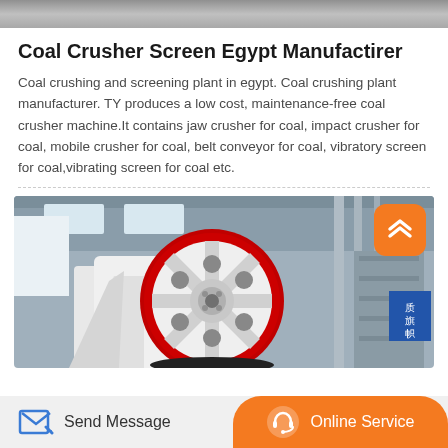[Figure (photo): Top partial banner image — industrial/outdoor scene, cropped to a thin strip at top of page]
Coal Crusher Screen Egypt Manufactirer
Coal crushing and screening plant in egypt. Coal crushing plant manufacturer. TY produces a low cost, maintenance-free coal crusher machine.It contains jaw crusher for coal, impact crusher for coal, mobile crusher for coal, belt conveyor for coal, vibratory screen for coal,vibrating screen for coal etc.
[Figure (photo): Large industrial coal crusher machine photographed inside a factory building. The machine has a prominent red and white circular flywheel/pulley mechanism in the center foreground. The factory interior shows steel framework, skylights, and structural columns in the background. Chinese text banners are visible on the right side of the image.]
Send Message    Online Service